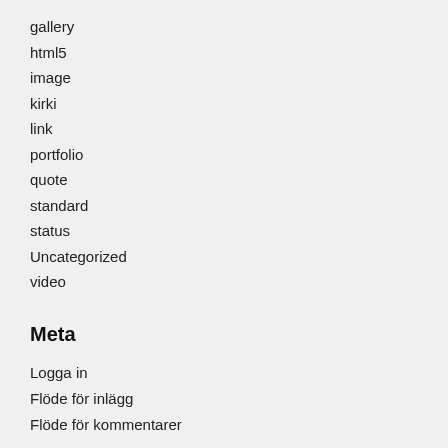gallery
html5
image
kirki
link
portfolio
quote
standard
status
Uncategorized
video
Meta
Logga in
Flöde för inlägg
Flöde för kommentarer